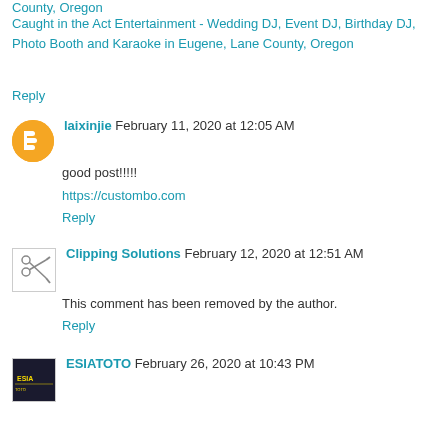County, Oregon
Caught in the Act Entertainment - Wedding DJ, Event DJ, Birthday DJ, Photo Booth and Karaoke in Eugene, Lane County, Oregon
Reply
laixinjie  February 11, 2020 at 12:05 AM
good post!!!!!
https://custombo.com
Reply
Clipping Solutions  February 12, 2020 at 12:51 AM
This comment has been removed by the author.
Reply
ESIATOTO  February 26, 2020 at 10:43 PM